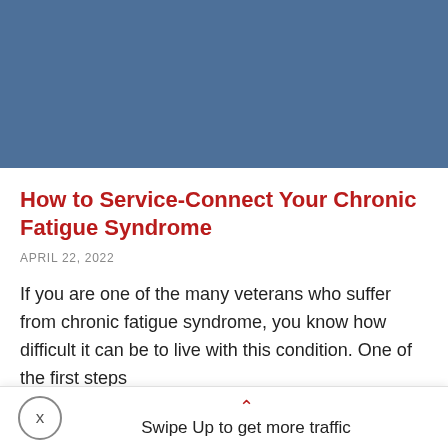[Figure (photo): Blue-toned image block at the top of the page, approximately representing a header photo area for the article about Chronic Fatigue Syndrome.]
How to Service-Connect Your Chronic Fatigue Syndrome
APRIL 22, 2022
If you are one of the many veterans who suffer from chronic fatigue syndrome, you know how difficult it can be to live with this condition. One of the first steps
Swipe Up to get more traffic